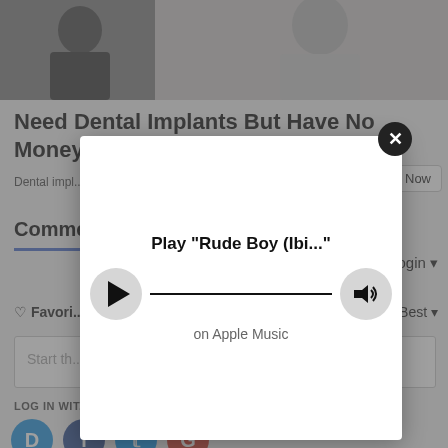[Figure (screenshot): Background webpage showing dental implant ad, comments section with social login icons (Disqus, Facebook, Twitter, Google), a comment input box, and partial UI elements. Overlaid by a semi-transparent dark overlay with a white modal popup.]
Need Dental Implants But Have No Money? See Options
Dental impl... Search Now
Comme...
Login
Favori... by Best
Start th...
LOG IN WIT...
[Figure (screenshot): Apple Music player modal popup showing play button, progress line, volume button, song title 'Play "Rude Boy (Ibi..."' and subtitle 'on Apple Music'. Close button (X) in top right corner.]